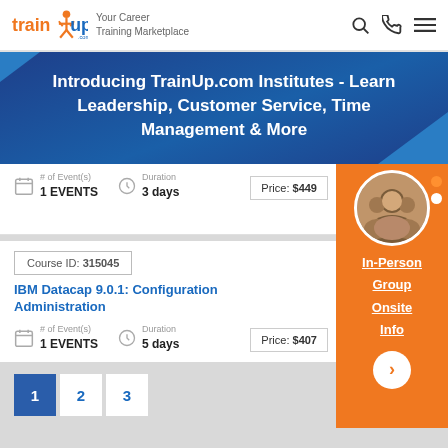trainXup.com — Your Career Training Marketplace
Introducing TrainUp.com Institutes - Learn Leadership, Customer Service, Time Management & More
# of Event(s): 1 EVENTS | Duration: 3 days | Price: $449
Course ID: 315045
IBM Datacap 9.0.1: Configuration Administration
# of Event(s): 1 EVENTS | Duration: 5 days | Price: $407
[Figure (infographic): Orange sidebar panel with circular photo of group of people, underlined links: In-Person, Group, Onsite, Info, and a > navigation button. Two orange/white dots on the right side.]
Pagination: 1  2  3